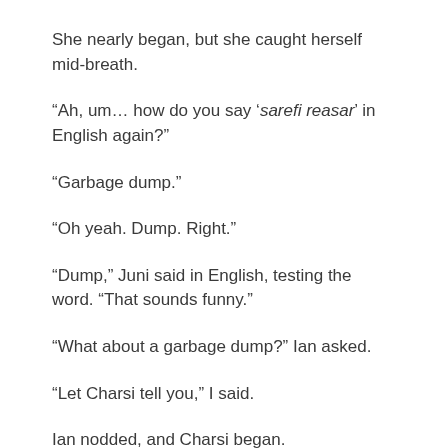She nearly began, but she caught herself mid-breath.
“Ah, um… how do you say ‘sarefi reasar’ in English again?”
“Garbage dump.”
“Oh yeah. Dump. Right.”
“Dump,” Juni said in English, testing the word. “That sounds funny.”
“What about a garbage dump?” Ian asked.
“Let Charsi tell you,” I said.
Ian nodded, and Charsi began.